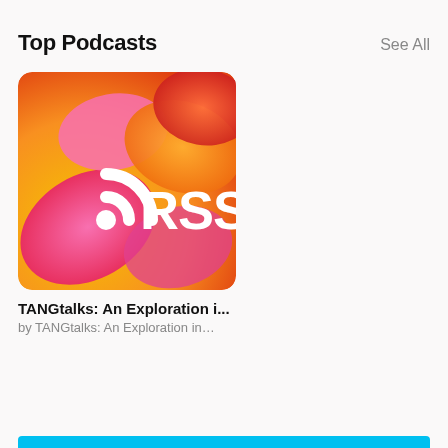Top Podcasts
See All
[Figure (illustration): Podcast artwork with colorful RSS feed icon on orange/pink/magenta gradient background with white RSS symbol and RSS text]
TANGtalks: An Exploration i...
by TANGtalks: An Exploration in...